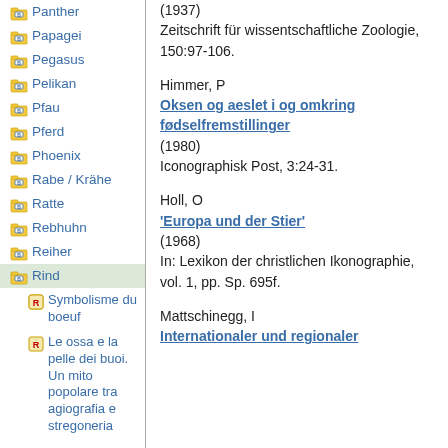Panther
Papagei
Pegasus
Pelikan
Pfau
Pferd
Phoenix
Rabe / Krähe
Ratte
Rebhuhn
Reiher
Rind
Symbolisme du boeuf
Le ossa e la pelle dei buoi. Un mito popolare tra agiografia e stregoneria
(1937) Zeitschrift für wissentschaftliche Zoologie, 150:97-106.
Himmer, P
Oksen og aeslet i og omkring fødselfremstillinger
(1980)
Iconographisk Post, 3:24-31.
Holl, O
'Europa und der Stier'
(1968)
In: Lexikon der christlichen Ikonographie, vol. 1, pp. Sp. 695f.
Mattschinegg, I
Internationaler und regionaler Gebra...